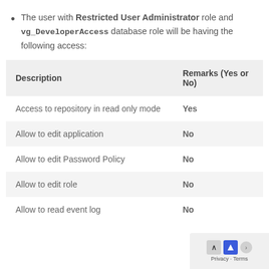The user with Restricted User Administrator role and vg_DeveloperAccess database role will be having the following access:
| Description | Remarks (Yes or No) |
| --- | --- |
| Access to repository in read only mode | Yes |
| Allow to edit application | No |
| Allow to edit Password Policy | No |
| Allow to edit role | No |
| Allow to read event log | No |